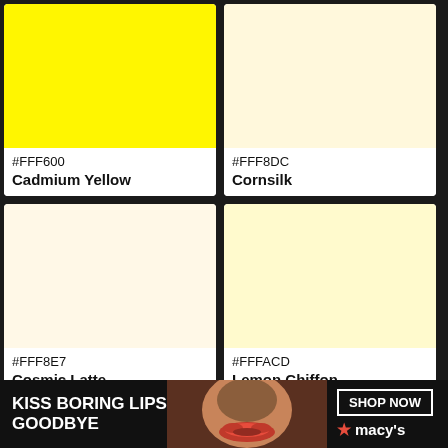[Figure (infographic): Color swatch for #FFF600 Cadmium Yellow - bright yellow color block with hex code and name label]
[Figure (infographic): Color swatch for #FFF8DC Cornsilk - very light cream/yellow color block with hex code and name label]
[Figure (infographic): Color swatch for #FFF8E7 Cosmic Latte - very light warm white color block with hex code and name label]
[Figure (infographic): Color swatch for #FFFACD Lemon Chiffon - very light yellow color block with hex code and name label]
[Figure (photo): Advertisement banner: KISS BORING LIPS GOODBYE - SHOP NOW - macy's, showing woman with red lips]